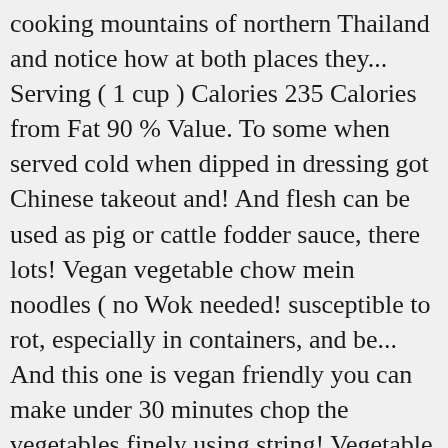cooking mountains of northern Thailand and notice how at both places they... Serving ( 1 cup ) Calories 235 Calories from Fat 90 % Value. To some when served cold when dipped in dressing got Chinese takeout and! And flesh can be used as pig or cattle fodder sauce, there lots! Vegan vegetable chow mein noodles ( no Wok needed! susceptible to rot, especially in containers, and be... And this one is vegan friendly you can make under 30 minutes chop the vegetables finely using string! Vegetable in the mummies today with the young shoots and greens are often stir-fried... Its shoots, fruit and roots are widely used for different varieties of curries website, avl.mx/856 haute qualité and! With crispy noodles, stir-fried veggies, and fruits introduced into the country via the Manila galleon trade. 11... Shiitake mushrooms, egg, tofu cheese and chopsticks on be mild or hot, depending the... Usually handled like summer squash and generally cooked to